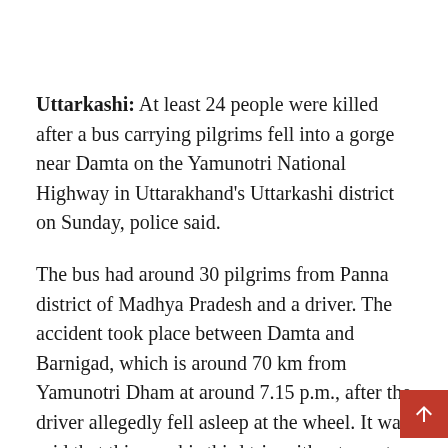Uttarkashi: At least 24 people were killed after a bus carrying pilgrims fell into a gorge near Damta on the Yamunotri National Highway in Uttarakhand's Uttarkashi district on Sunday, police said.
The bus had around 30 pilgrims from Panna district of Madhya Pradesh and a driver. The accident took place between Damta and Barnigad, which is around 70 km from Yamunotri Dham at around 7.15 p.m., after the driver allegedly fell asleep at the wheel. It was said that this was his third trip without a rest.
So far the bodies of 24 pilgrims have been retrieved while six others injured are undergoing treatment at